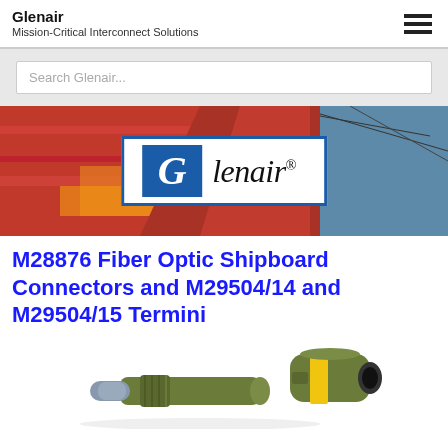Glenair
Mission-Critical Interconnect Solutions
Search Glenair...
[Figure (photo): Hero banner with motion-blurred train/rail background in red and orange tones, with Glenair logo centered in white box with blue border. Logo shows stylized G in blue square and italic 'Glenair' text with registered trademark symbol.]
M28876 Fiber Optic Shipboard Connectors and M29504/14 and M29504/15 Termini
[Figure (photo): Product photo showing two fiber optic shipboard connectors/termini in olive/military green color with yellow band detail, on white background.]